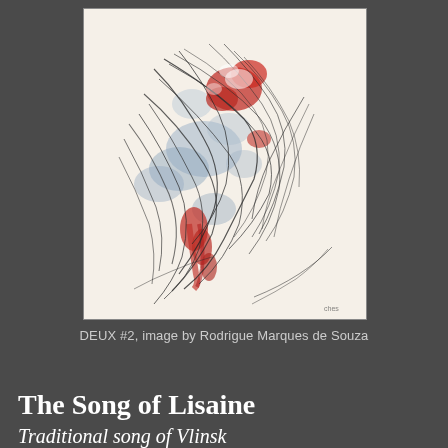[Figure (illustration): Abstract artwork with expressive marks: tangled dark pencil/ink lines over a cream background, with splashes and smears of red and blue-gray paint, creating a dynamic, gestural composition. Small signature or text in lower right corner reads 'Ches' or similar.]
DEUX #2, image by Rodrigue Marques de Souza
The Song of Lisaine
Traditional song of Vlinsk